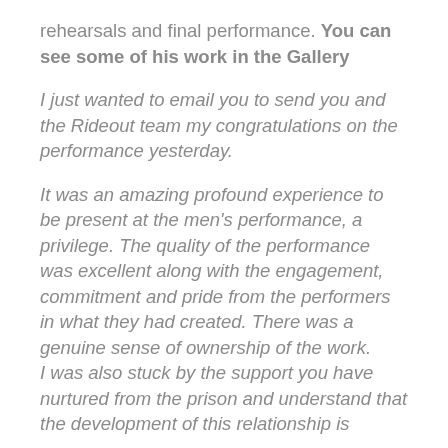rehearsals and final performance. You can see some of his work in the Gallery
I just wanted to email you to send you and the Rideout team my congratulations on the performance yesterday.
It was an amazing profound experience to be present at the men's performance, a privilege. The quality of the performance was excellent along with the engagement, commitment and pride from the performers in what they had created. There was a genuine sense of ownership of the work. I was also stuck by the support you have nurtured from the prison and understand that the development of this relationship is